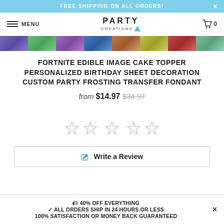FREE SHIPPING ON ALL ORDERS!
[Figure (screenshot): Navigation bar with hamburger menu, PARTY CREATIONZ logo, and cart icon showing 0 items]
[Figure (photo): Strip of product thumbnail images showing various Fortnite cake toppers]
FORTNITE EDIBLE IMAGE CAKE TOPPER PERSONALIZED BIRTHDAY SHEET DECORATION CUSTOM PARTY FROSTING TRANSFER FONDANT
from $14.97 $34.97
[Figure (other): Five empty star rating icons]
Write a Review
🏷 40% OFF EVERYTHING ✓ ALL ORDERS SHIP IN 24 HOURS OR LESS 100% SATISFACTION OR MONEY BACK GUARANTEED